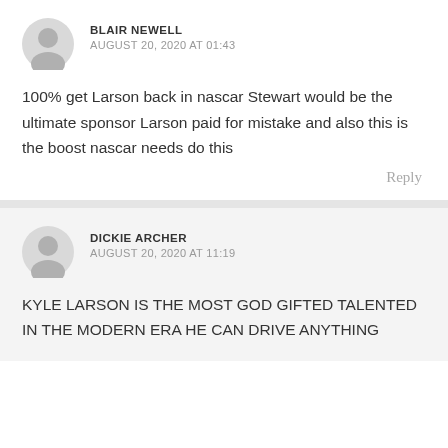BLAIR NEWELL
AUGUST 20, 2020 AT 01:43
100% get Larson back in nascar Stewart would be the ultimate sponsor Larson paid for mistake and also this is the boost nascar needs do this
Reply
DICKIE ARCHER
AUGUST 20, 2020 AT 11:19
KYLE LARSON IS THE MOST GOD GIFTED TALENTED IN THE MODERN ERA HE CAN DRIVE ANYTHING